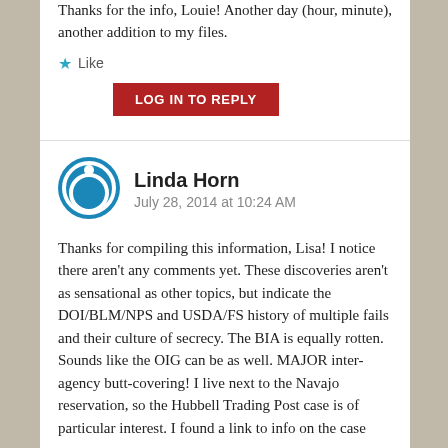Thanks for the info, Louie! Another day (hour, minute), another addition to my files.
★ Like
LOG IN TO REPLY
Linda Horn
July 28, 2014 at 10:24 AM
Thanks for compiling this information, Lisa! I notice there aren't any comments yet. These discoveries aren't as sensational as other topics, but indicate the DOI/BLM/NPS and USDA/FS history of multiple fails and their culture of secrecy. The BIA is equally rotten. Sounds like the OIG can be as well. MAJOR inter-agency butt-covering! I live next to the Navajo reservation, so the Hubbell Trading Post case is of particular interest. I found a link to info on the case